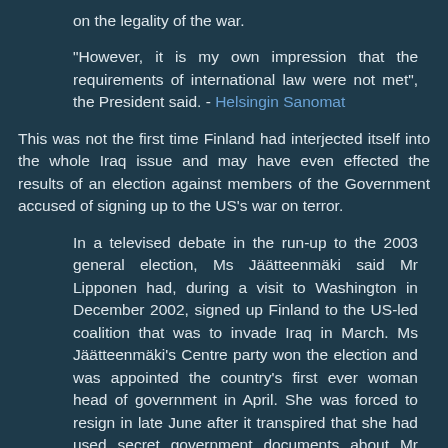on the legality of the war.
"However, it is my own impression that the requirements of international law were not met", the President said. - Helsingin Sanomat
This was not the first time Finland had interjected itself into the whole Iraq issue and may have even effected the results of an election against members of the Government accused of signing up to the US's war on terror.
In a televised debate in the run-up to the 2003 general election, Ms Jäätteenmäki said Mr Lipponen had, during a visit to Washington in December 2002, signed up Finland to the US-led coalition that was to invade Iraq in March. Ms Jäätteenmäki's Centre party won the election and was appointed the country's first ever woman head of government in April. She was forced to resign in late June after it transpired that she had used secret government documents about Mr Lipponen's Washington visit as a